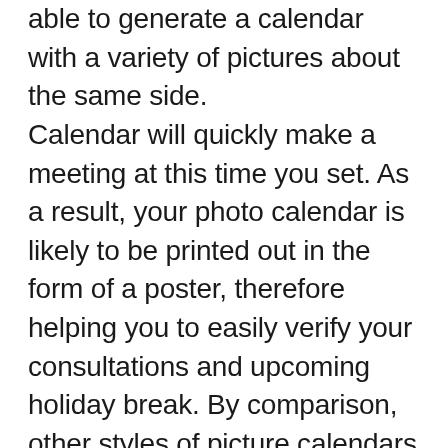able to generate a calendar with a variety of pictures about the same side. Calendar will quickly make a meeting at this time you set. As a result, your photo calendar is likely to be printed out in the form of a poster, therefore helping you to easily verify your consultations and upcoming holiday break. By comparison, other styles of picture calendars like personalised old-fashioned calendars and organizers don't need nowadays than 1 image.
There are a variety of methods to create your personal calendar. Once you create your personal calendar you might find innovative and add specific themes and images to certain weeks. The majority of us are aware it is possible to make your